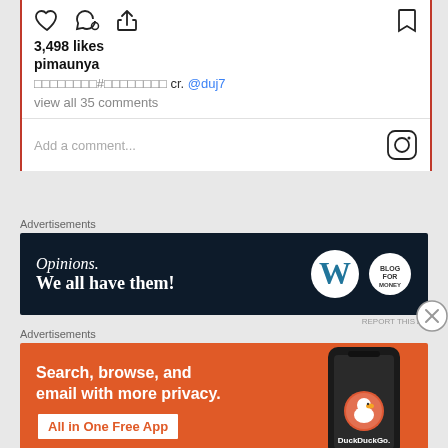[Figure (screenshot): Instagram post action icons: heart (like), speech bubble (comment), share arrow on the left; bookmark on the right]
3,498 likes
pimaunya
□□□□□□□□#□□□□□□□□ cr. @duj7
view all 35 comments
Add a comment...
Advertisements
[Figure (screenshot): Dark navy advertisement banner: 'Opinions. We all have them!' with WordPress W logo and another circular logo on the right]
REPORT THIS AD
Advertisements
[Figure (screenshot): Orange DuckDuckGo advertisement banner: 'Search, browse, and email with more privacy. All in One Free App' with phone mockup and DuckDuckGo logo]